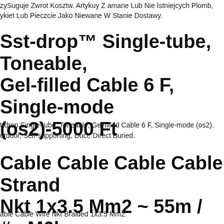zySuguje Zwrot Kosztw. Artykuy Z amane Lub Nie Istniejcych Plomb, ykiet Lub Pieczcie Jako Niewane W Stanie Dostawy.
Sst-drop™ Single-tube, Toneable, Gel-filled Cable 6 F, Single-mode (os2)-5000 Ft
t-drop Single-tube, Toneable, Gel-filled Cable 6 F, Single-mode (os2). utdoor, Self-supporting, Duct, Direct Buried.
Cable Cable Cable Cable Strand Nkt 1x3.5 Mm2 ~ 55m / #g M6l 946
able Cable Wire Nkt Braided 1x3.5 Mm2.
avid Yurman 18k Yellow Gold Coil Cable Diamond Ring Size 7. Round Cu Diamonds Are Scattered Around The Oval Shape Coil Cable Design.